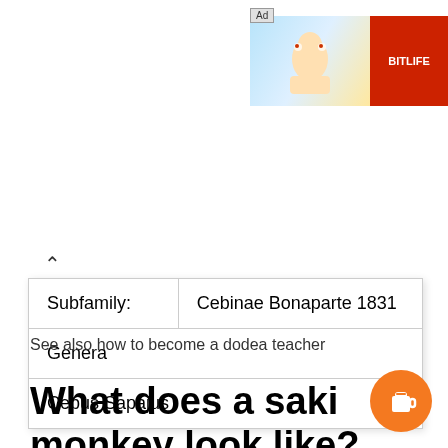[Figure (screenshot): BitLife advertisement banner in top right area with 'Ad' tag, animated character image, red BitLife logo, and text 'BitLife - Life S']
| Subfamily: | Cebinae Bonaparte 1831 |
| Genera |  |
| Cebus Sapajus |  |
See also how to become a dodea teacher
What does a saki monkey look like?